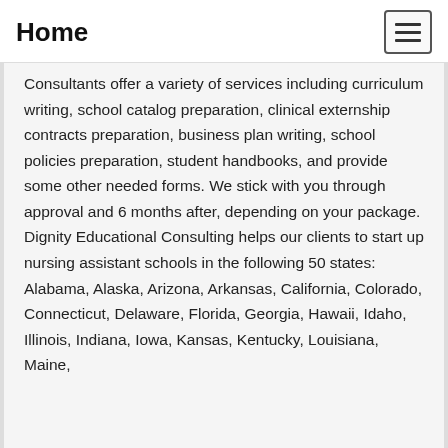Home
Consultants offer a variety of services including curriculum writing, school catalog preparation, clinical externship contracts preparation, business plan writing, school policies preparation, student handbooks, and provide some other needed forms. We stick with you through approval and 6 months after, depending on your package. Dignity Educational Consulting helps our clients to start up nursing assistant schools in the following 50 states: Alabama, Alaska, Arizona, Arkansas, California, Colorado, Connecticut, Delaware, Florida, Georgia, Hawaii, Idaho, Illinois, Indiana, Iowa, Kansas, Kentucky, Louisiana, Maine,